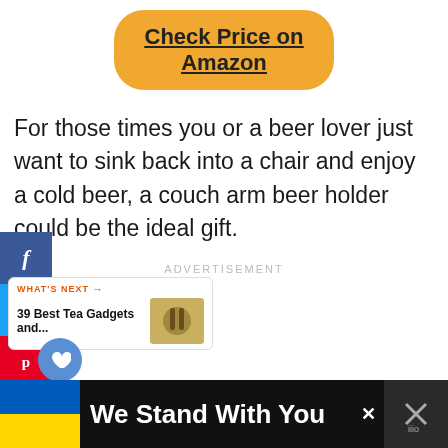[Figure (other): Orange rounded button with underlined text 'Check Price on Amazon']
For those times you or a beer lover just want to sink back into a chair and enjoy a cold beer, a couch arm beer holder could be the ideal gift.
[Figure (other): Social media sharing sidebar with Facebook, Twitter, Pinterest buttons, a save heart button, and a share button]
ADVERTISEMENT
[Figure (other): What's Next promo: '39 Best Tea Gadgets and...' with a small thumbnail image of tea gadgets]
[Figure (other): Bottom banner ad: Ukraine flag colors with text 'We Stand With You' and close/mute icons]